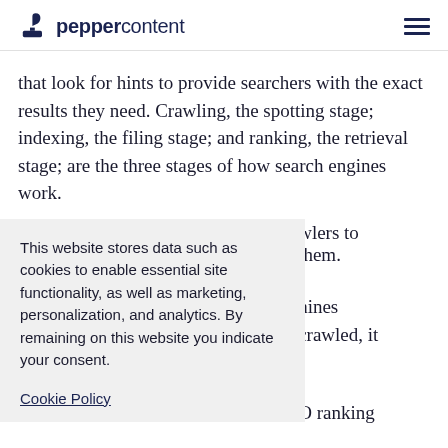peppercontent
that look for hints to provide searchers with the exact results they need. Crawling, the spotting stage; indexing, the filing stage; and ranking, the retrieval stage; are the three stages of how search engines work.
This website stores data such as cookies to enable essential site functionality, as well as marketing, personalization, and analytics. By remaining on this website you indicate your consent.
Cookie Policy
wlers to them. mines crawled, it O ranking